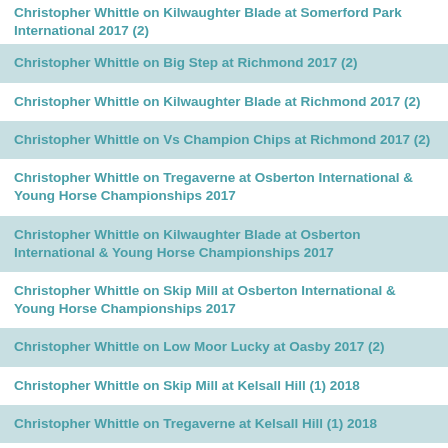Christopher Whittle on Kilwaughter Blade at Somerford Park International 2017 (2)
Christopher Whittle on Big Step at Richmond 2017 (2)
Christopher Whittle on Kilwaughter Blade at Richmond 2017 (2)
Christopher Whittle on Vs Champion Chips at Richmond 2017 (2)
Christopher Whittle on Tregaverne at Osberton International & Young Horse Championships 2017
Christopher Whittle on Kilwaughter Blade at Osberton International & Young Horse Championships 2017
Christopher Whittle on Skip Mill at Osberton International & Young Horse Championships 2017
Christopher Whittle on Low Moor Lucky at Oasby 2017 (2)
Christopher Whittle on Skip Mill at Kelsall Hill (1) 2018
Christopher Whittle on Tregaverne at Kelsall Hill (1) 2018
Christopher Whittle on Belinda at Kelsall Hill (1) 2018
Christopher Whittle on Kilwaughter Blade at Kelsall Hill (1) 2018
Christopher Whittle on Magnifique Royale at Kelsall Hill (1) 2018
Christopher Whittle on Vs Champion Chips at Kelsall Hill (1) 2018